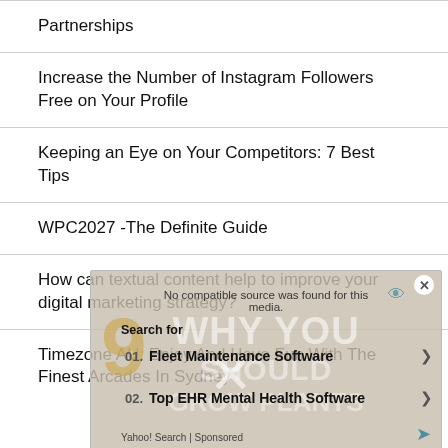Partnerships
Increase the Number of Instagram Followers Free on Your Profile
Keeping an Eye on Your Competitors: 7 Best Tips
WPC2027 -The Definite Guide
How can textual content help to improve your digital marketing strategy?
Timezone AU: Enjoy And Have Fun With The Finest Arcades In Sydney
[Figure (screenshot): Ad overlay showing 'No compatible source was found for this media.' with search results for Fleet Maintenance Software and Top EHR Mental Health Software sponsored by Yahoo! Search]